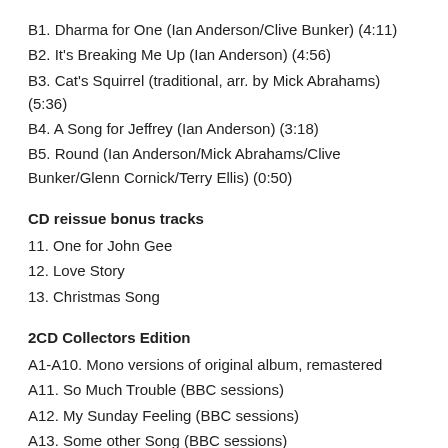B1. Dharma for One (Ian Anderson/Clive Bunker) (4:11)
B2. It's Breaking Me Up (Ian Anderson) (4:56)
B3. Cat's Squirrel (traditional, arr. by Mick Abrahams) (5:36)
B4. A Song for Jeffrey (Ian Anderson) (3:18)
B5. Round (Ian Anderson/Mick Abrahams/Clive Bunker/Glenn Cornick/Terry Ellis) (0:50)
CD reissue bonus tracks
11. One for John Gee
12. Love Story
13. Christmas Song
2CD Collectors Edition
A1-A10. Mono versions of original album, remastered
A11. So Much Trouble (BBC sessions)
A12. My Sunday Feeling (BBC sessions)
A13. Some other Song (BBC sessions)